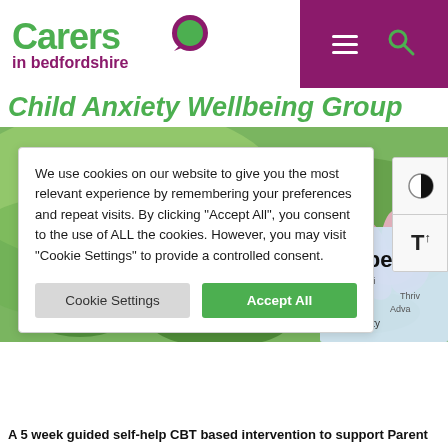Carers in bedfordshire — navigation header with logo, menu and search icons
Child Anxiety Wellbeing Group
[Figure (photo): Blurred photo of pink lotus flowers and green lily pads on water, with a partially visible 'Wellbeing Health Contentment Prosperity' word collage card in the bottom right corner]
We use cookies on our website to give you the most relevant experience by remembering your preferences and repeat visits. By clicking "Accept All", you consent to the use of ALL the cookies. However, you may visit "Cookie Settings" to provide a controlled consent.
A 5 week guided self-help CBT based intervention to support Parent